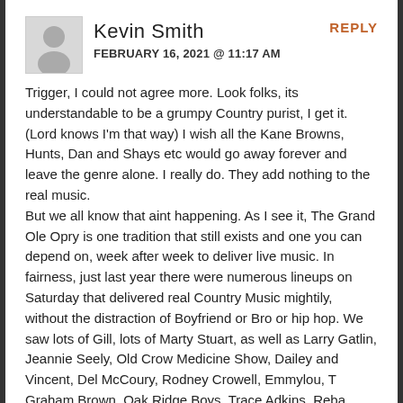[Figure (illustration): Generic user avatar silhouette in a grey square box]
Kevin Smith
FEBRUARY 16, 2021 @ 11:17 AM
REPLY
Trigger, I could not agree more. Look folks, its understandable to be a grumpy Country purist, I get it. (Lord knows I'm that way) I wish all the Kane Browns, Hunts, Dan and Shays etc would go away forever and leave the genre alone. I really do. They add nothing to the real music.
But we all know that aint happening. As I see it, The Grand Ole Opry is one tradition that still exists and one you can depend on, week after week to deliver live music. In fairness, just last year there were numerous lineups on Saturday that delivered real Country Music mightily, without the distraction of Boyfriend or Bro or hip hop. We saw lots of Gill, lots of Marty Stuart, as well as Larry Gatlin, Jeannie Seely, Old Crow Medicine Show, Dailey and Vincent, Del McCoury, Rodney Crowell, Emmylou, T Graham Brown, Oak Ridge Boys, Trace Adkins, Reba, Josh Turner, Sierra Hull, Billy Strings, and some Ive forgotten to list. Overall, it wasn't bad. Yes there were some nights I skipped altogether as the lineups were intolerable. 'There were some strange inclusions of non country artists that were included for various reasons,